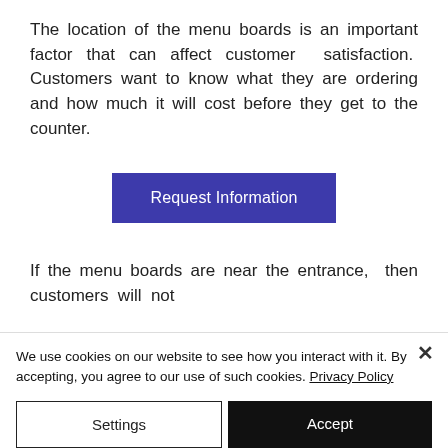The location of the menu boards is an important factor that can affect customer satisfaction. Customers want to know what they are ordering and how much it will cost before they get to the counter.
Request Information
If the menu boards are near the entrance, then customers will not
We use cookies on our website to see how you interact with it. By accepting, you agree to our use of such cookies. Privacy Policy
Settings
Accept